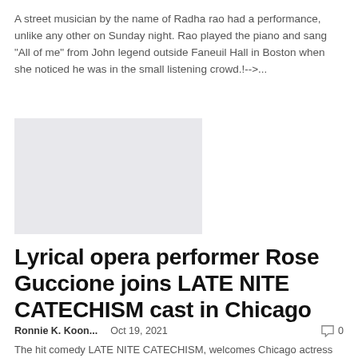A street musician by the name of Radha rao had a performance, unlike any other on Sunday night. Rao played the piano and sang "All of me" from John legend outside Faneuil Hall in Boston when she noticed he was in the small listening crowd.!-->...
[Figure (photo): Gray placeholder image block]
Lyrical opera performer Rose Guccione joins LATE NITE CATECHISM cast in Chicago
Ronnie K. Koon...   Oct 19, 2021   0
The hit comedy LATE NITE CATECHISM, welcomes Chicago actress